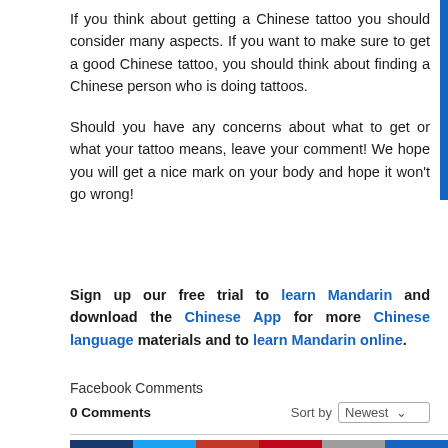If you think about getting a Chinese tattoo you should consider many aspects. If you want to make sure to get a good Chinese tattoo, you should think about finding a Chinese person who is doing tattoos.
Should you have any concerns about what to get or what your tattoo means, leave your comment! We hope you will get a nice mark on your body and hope it won’t go wrong!
Sign up our free trial to learn Mandarin and download the Chinese App for more Chinese language materials and to learn Mandarin online.
Facebook Comments
0 Comments  Sort by Newest
[Figure (infographic): Social share bar showing 1 Share with Facebook, Twitter, Google+, Pinterest, Email, and crown icon buttons]